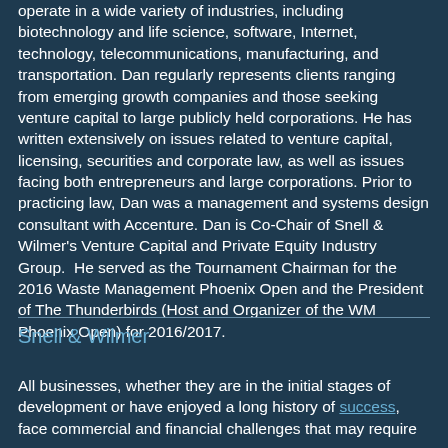operate in a wide variety of industries, including biotechnology and life science, software, Internet, technology, telecommunications, manufacturing, and transportation. Dan regularly represents clients ranging from emerging growth companies and those seeking venture capital to large publicly held corporations. He has written extensively on issues related to venture capital, licensing, securities and corporate law, as well as issues facing both entrepreneurs and large corporations. Prior to practicing law, Dan was a management and systems design consultant with Accenture. Dan is Co-Chair of Snell & Wilmer's Venture Capital and Private Equity Industry Group. He served as the Tournament Chairman for the 2016 Waste Management Phoenix Open and the President of The Thunderbirds (Host and Organizer of the WM Phoenix Open) for 2016/2017.
Snell & Wilmer
All businesses, whether they are in the initial stages of development or have enjoyed a long history of success, face commercial and financial challenges that may require